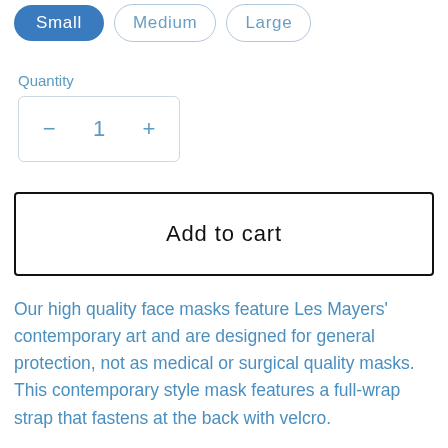Small | Medium | Large
Quantity
− 1 +
Add to cart
Our high quality face masks feature Les Mayers' contemporary art and are designed for general protection, not as medical or surgical quality masks.  This contemporary style mask features a full-wrap strap that fastens at the back with velcro.